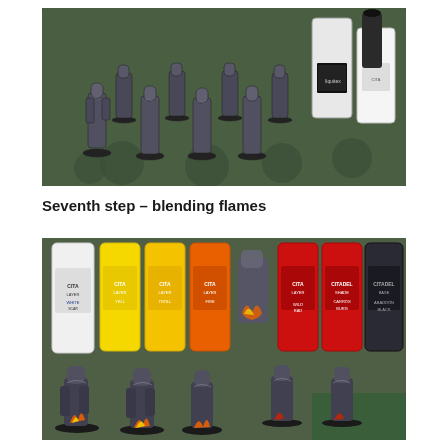[Figure (photo): Photo of multiple dark grey Warhammer 40K Space Marine miniatures arranged on a green cutting mat workbench, with white and black paint bottles (Liquitex, Citadel) visible to the right side]
Seventh step – blending flames
[Figure (photo): Photo showing a group of dark Space Marine miniatures with flame effects on bases, posed in front of multiple Citadel paint bottles in white, yellow, orange, red, and dark grey/black colors]